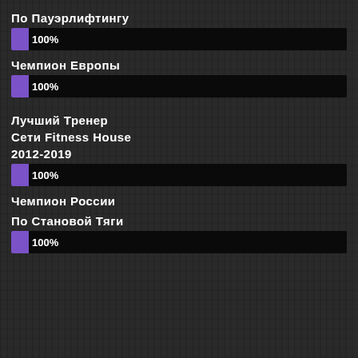По Пауэрлифтингу
[Figure (bar-chart): ]
Чемпион Европы
[Figure (bar-chart): ]
Лучший Тренер
Сети Fitness House
2012-2019
[Figure (bar-chart): ]
Чемпион России
По Становой Тяги
[Figure (bar-chart): ]